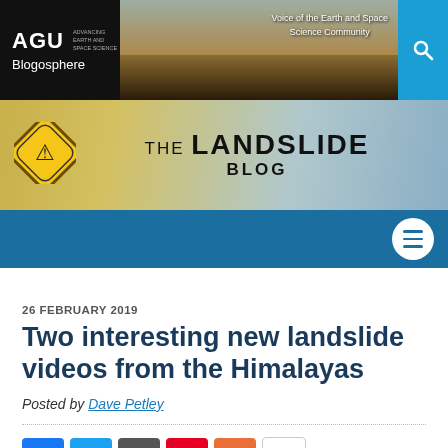[Figure (screenshot): AGU Blogosphere top navigation banner with logo on the left and silhouetted figures against a sunset/mountain backdrop in the center, with a blue search button on the right. Text reads 'Voice of the Earth and Space Science Community']
[Figure (screenshot): The Landslide Blog banner with a warning sign icon on the left and bold title text 'THE LANDSLIDE BLOG' on a mountain/snow background]
[Figure (screenshot): Blue navigation bar with hamburger menu icon (three horizontal bars) in a white circle on the right side]
26 FEBRUARY 2019
Two interesting new landslide videos from the Himalayas
Posted by Dave Petley
[Figure (infographic): Social media share buttons row: Facebook (blue), Twitter (light blue), Email (dark grey), Pinterest (red), More/plus (orange), and a count badge showing 15]